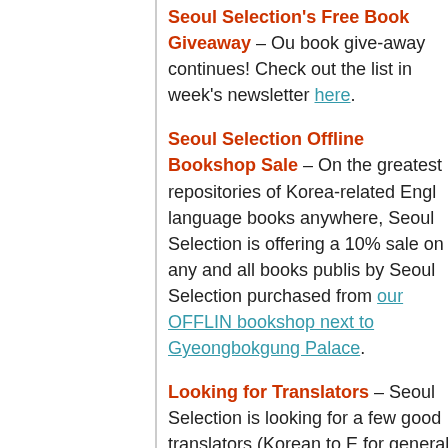Seoul Selection's Free Book Giveaway – Our book give-away continues! Check out the list in this week's newsletter here.
Seoul Selection Offline Bookshop Sale – One of the greatest repositories of Korea-related English-language books anywhere, Seoul Selection is offering a 10% sale on any and all books published by Seoul Selection purchased from our OFFLINE bookshop next to Gyeongbokgung Palace.
Looking for Translators – Seoul Selection is looking for a few good translators (Korean to English) for general translation work. Those interested should send a resume and cover letter to Kyehyun at atoz@seoulselection.com. Experienced translators only.
Seoul Selection eBooks – You can purchase Seoul Selection titles in ebook format via